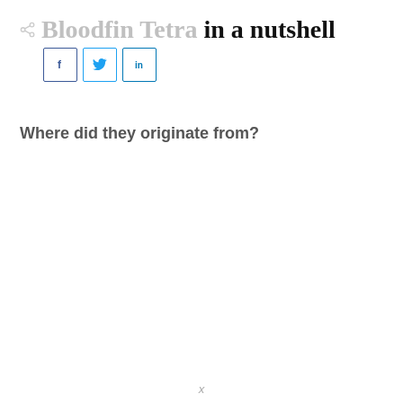Bloodfin Tetra in a nutshell
Where did they originate from?
x